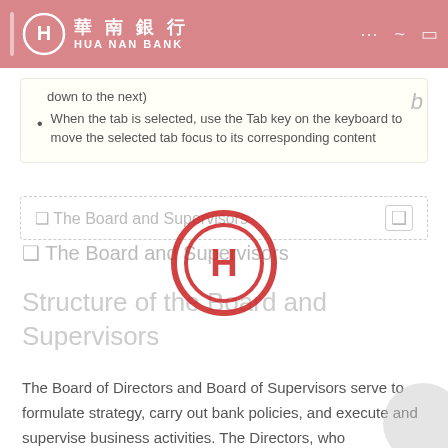華南銀行 HUA NAN BANK
down to the next)
When the tab is selected, use the Tab key on the keyboard to move the selected tab focus to its corresponding content
❑ The Board and Supervisors
❑ The Board and Supervisors
Structure of the Board and Supervisors
The Board of Directors and Board of Supervisors serve to formulate strategy, carry out bank policies, and execute and supervise business activities. The Directors, who